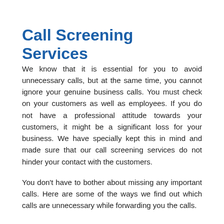Call Screening Services
We know that it is essential for you to avoid unnecessary calls, but at the same time, you cannot ignore your genuine business calls. You must check on your customers as well as employees. If you do not have a professional attitude towards your customers, it might be a significant loss for your business. We have specially kept this in mind and made sure that our call screening services do not hinder your contact with the customers.
You don't have to bother about missing any important calls. Here are some of the ways we find out which calls are unnecessary while forwarding you the calls.